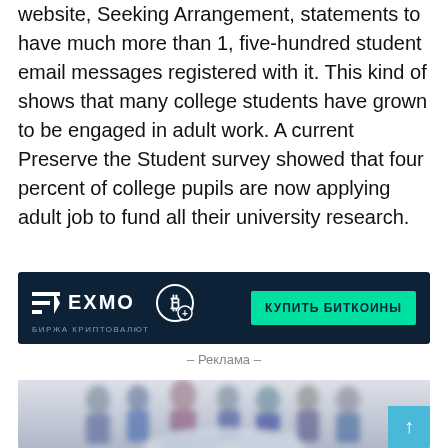website, Seeking Arrangement, statements to have much more than 1, five-hundred student email messages registered with it. This kind of shows that many college students have grown to be engaged in adult work. A current Preserve the Student survey showed that four percent of college pupils are now applying adult job to fund all their university research.
[Figure (other): EXMO cryptocurrency exchange advertisement banner with dark navy background, logo, bitcoin icon, and green 'КУПИТЬ БИТКОИНЫ' button. Russian subtitle 'БИРЖА КРИПТОВАЛЮТ'.]
– Реклама –
[Figure (photo): Blurred group of business people / students standing in background with a handshake in the foreground.]